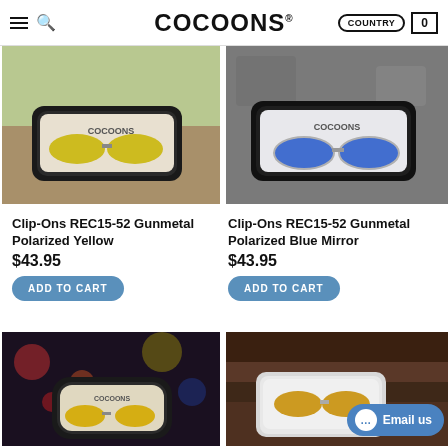COCOONS | COUNTRY | 0
[Figure (photo): Cocoons sunglasses in black case with yellow polarized lenses, placed on driftwood outdoors]
[Figure (photo): Cocoons sunglasses in black case with blue mirror polarized lenses, placed on rocky surface]
Clip-Ons REC15-52 Gunmetal Polarized Yellow
$43.95
ADD TO CART
Clip-Ons REC15-52 Gunmetal Polarized Blue Mirror
$43.95
ADD TO CART
[Figure (photo): Cocoons sunglasses in soft case with yellow lenses, city lights bokeh background]
[Figure (photo): Cocoons sunglasses in white/silver case with gold lenses, rustic wooden background, Email us widget visible]